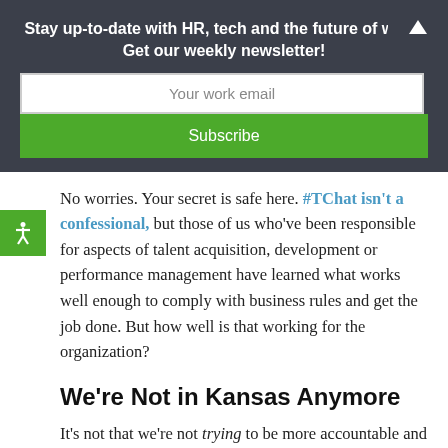Stay up-to-date with HR, tech and the future of work. Get our weekly newsletter!
Your work email
Subscribe
No worries. Your secret is safe here. #TChat isn't a confessional, but those of us who've been responsible for aspects of talent acquisition, development or performance management have learned what works well enough to comply with business rules and get the job done. But how well is that working for the organization?
We're Not in Kansas Anymore
It's not that we're not trying to be more accountable and transparent. Besides, new social tools and technologies are shining light up our sleeves, for better